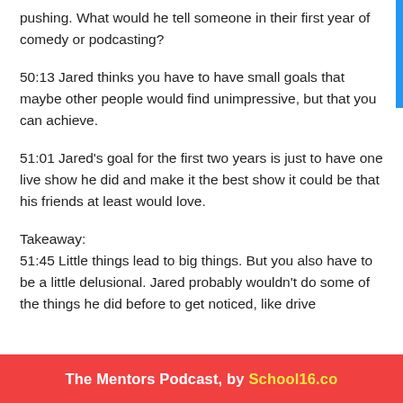pushing. What would he tell someone in their first year of comedy or podcasting?
50:13 Jared thinks you have to have small goals that maybe other people would find unimpressive, but that you can achieve.
51:01 Jared’s goal for the first two years is just to have one live show he did and make it the best show it could be that his friends at least would love.
Takeaway:
51:45 Little things lead to big things. But you also have to be a little delusional. Jared probably wouldn’t do some of the things he did before to get noticed, like drive
The Mentors Podcast, by School16.co